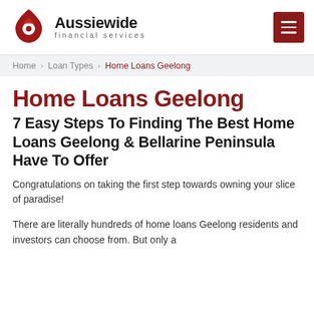[Figure (logo): Aussiewide Financial Services logo — red house/pin icon on the left, bold company name and 'financial services' subtitle on the right]
Aussiewide financial services
Home > Loan Types > Home Loans Geelong
Home Loans Geelong
7 Easy Steps To Finding The Best Home Loans Geelong & Bellarine Peninsula Have To Offer
Congratulations on taking the first step towards owning your slice of paradise!
There are literally hundreds of home loans Geelong residents and investors can choose from. But only a